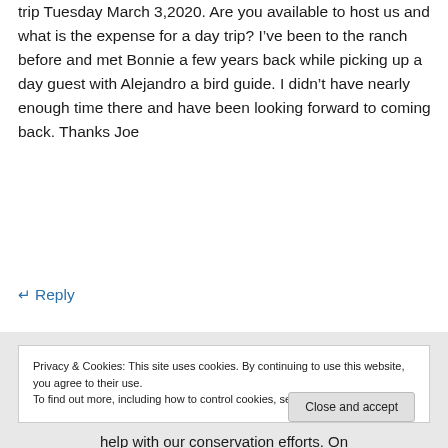trip Tuesday March 3,2020. Are you available to host us and what is the expense for a day trip? I've been to the ranch before and met Bonnie a few years back while picking up a day guest with Alejandro a bird guide. I didn't have nearly enough time there and have been looking forward to coming back. Thanks Joe
↵ Reply
Privacy & Cookies: This site uses cookies. By continuing to use this website, you agree to their use.
To find out more, including how to control cookies, see here: Cookie Policy
Close and accept
help with our conservation efforts. On